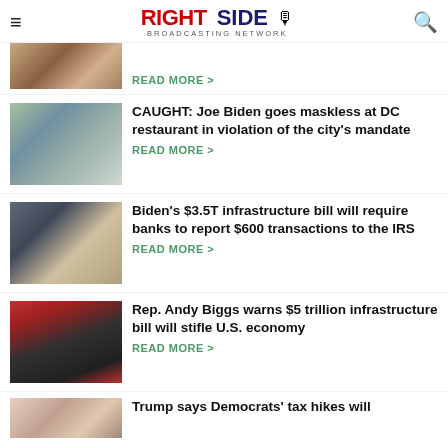RIGHT SIDE BROADCASTING NETWORK
[Figure (photo): Partially visible article thumbnail at top (Trump and woman)]
READ MORE >
[Figure (photo): Photo of Joe Biden and woman smiling outdoors]
CAUGHT: Joe Biden goes maskless at DC restaurant in violation of the city's mandate
READ MORE >
[Figure (photo): Photo of Biden next to Internal Revenue Service Building sign]
Biden's $3.5T infrastructure bill will require banks to report $600 transactions to the IRS
READ MORE >
[Figure (photo): Photo of Rep. Andy Biggs speaking at podium with red crowd background]
Rep. Andy Biggs warns $5 trillion infrastructure bill will stifle U.S. economy
READ MORE >
[Figure (photo): Partially visible article thumbnail at bottom (Trump)]
Trump says Democrats' tax hikes will